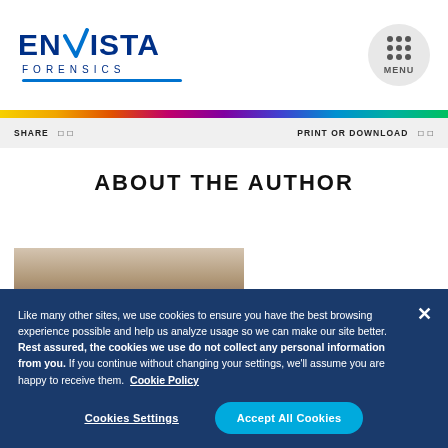[Figure (logo): Envista Forensics logo with blue checkmark and text]
SHARE   PRINT OR DOWNLOAD
ABOUT THE AUTHOR
[Figure (photo): Partial author photo with brown/dark hair visible]
Like many other sites, we use cookies to ensure you have the best browsing experience possible and help us analyze usage so we can make our site better. Rest assured, the cookies we use do not collect any personal information from you. If you continue without changing your settings, we'll assume you are happy to receive them. Cookie Policy
Cookies Settings
Accept All Cookies